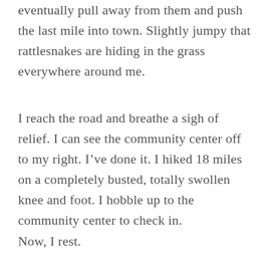eventually pull away from them and push the last mile into town. Slightly jumpy that rattlesnakes are hiding in the grass everywhere around me.
I reach the road and breathe a sigh of relief. I can see the community center off to my right. I’ve done it. I hiked 18 miles on a completely busted, totally swollen knee and foot. I hobble up to the community center to check in.
Now, I rest.